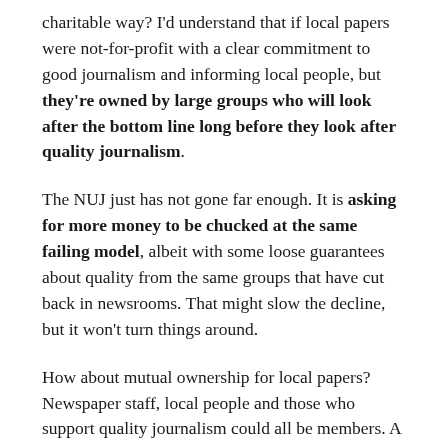charitable way? I'd understand that if local papers were not-for-profit with a clear commitment to good journalism and informing local people, but they're owned by large groups who will look after the bottom line long before they look after quality journalism.
The NUJ just has not gone far enough. It is asking for more money to be chucked at the same failing model, albeit with some loose guarantees about quality from the same groups that have cut back in newsrooms. That might slow the decline, but it won't turn things around.
How about mutual ownership for local papers? Newspaper staff, local people and those who support quality journalism could all be members. A constitution could guarantee day to day editorial independence, but the editor would answer to a board elected from the membership, which would set parameters for coverage, monitor quality and ensure investment in training.